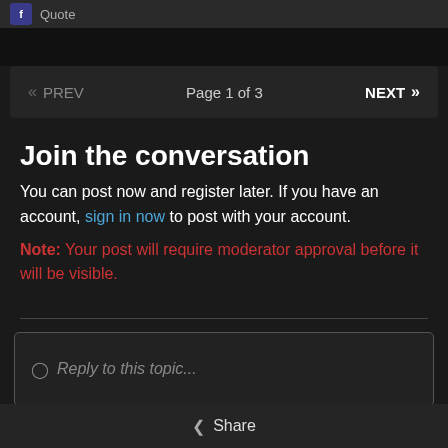f  Quote
« PREV   Page 1 of 3   NEXT »
Join the conversation
You can post now and register later. If you have an account, sign in now to post with your account. Note: Your post will require moderator approval before it will be visible.
☉ Reply to this topic...
< Share